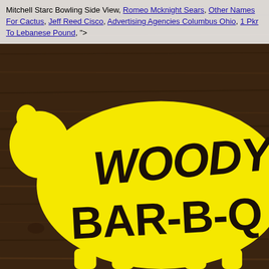Mitchell Starc Bowling Side View, Romeo Mcknight Sears, Other Names For Cactus, Jeff Reed Cisco, Advertising Agencies Columbus Ohio, 1 Pkr To Lebanese Pound, ">
[Figure (illustration): Woody's Bar-B-Q logo: a yellow pig silhouette on a dark wood-grain background with the text 'WOODY'S BAR-B-Q' in bold black brush lettering inside the pig shape. The image is cropped so the right side of the text is cut off.]